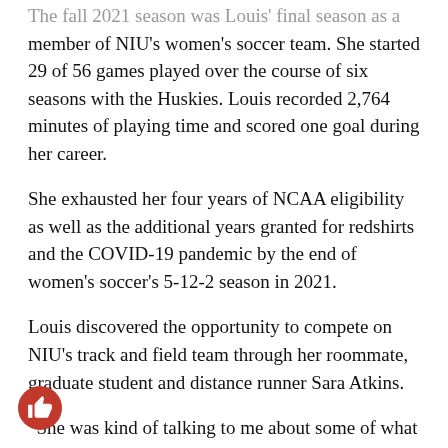The fall 2021 season was Louis' final season as a member of NIU's women's soccer team. She started 29 of 56 games played over the course of six seasons with the Huskies. Louis recorded 2,764 minutes of playing time and scored one goal during her career.
She exhausted her four years of NCAA eligibility as well as the additional years granted for redshirts and the COVID-19 pandemic by the end of women's soccer's 5-12-2 season in 2021.
Louis discovered the opportunity to compete on NIU's track and field team through her roommate, graduate student and distance runner Sara Atkins.
“She was kind of talking to me about some of what was happening with their team and how they were kind of low on numbers,” Louis said. “We both had the idea of maybe talking to the coach to see if I